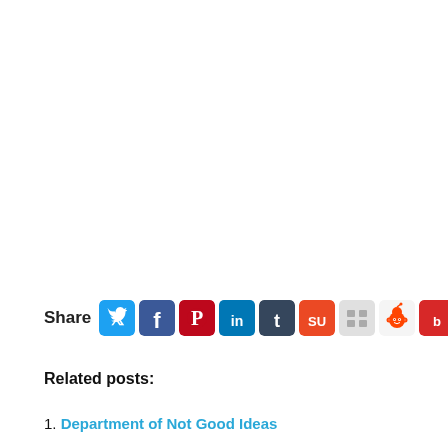[Figure (infographic): Social share bar with icons for Twitter, Facebook, Pinterest, LinkedIn, Tumblr, StumbleUpon, an icon, Reddit, Bebo, and Delicious]
Related posts:
1. Department of Not Good Ideas